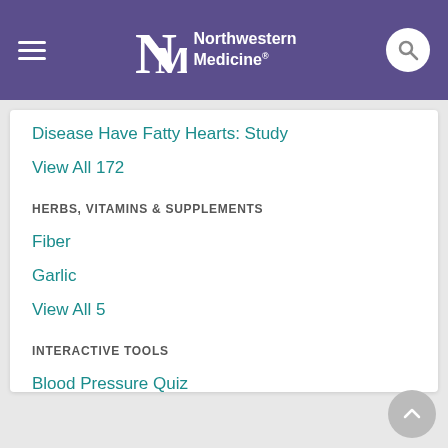Northwestern Medicine
Disease Have Fatty Hearts: Study
View All 172
HERBS, VITAMINS & SUPPLEMENTS
Fiber
Garlic
View All 5
INTERACTIVE TOOLS
Blood Pressure Quiz